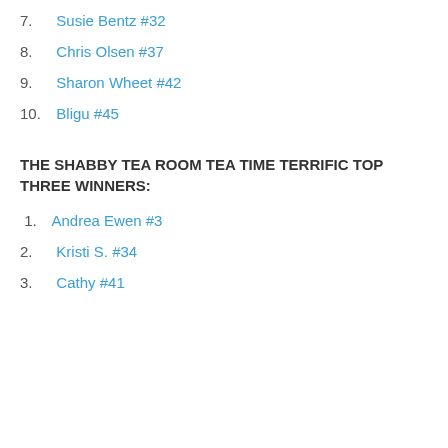7.  Susie Bentz #32
8.  Chris Olsen #37
9.  Sharon Wheet #42
10.  Bligu #45
THE SHABBY TEA ROOM TEA TIME TERRIFIC TOP THREE WINNERS:
1.  Andrea Ewen #3
2.  Kristi S. #34
3.  Cathy #41